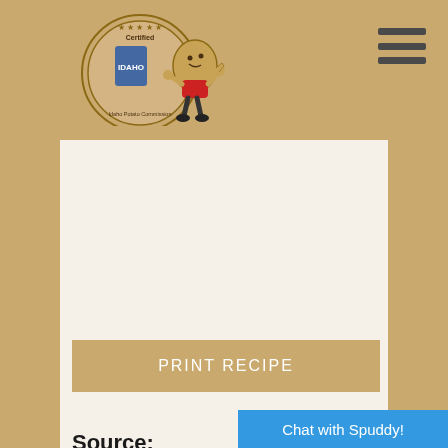[Figure (logo): Certified Idaho potato logo with mascot character (potato with arms and legs, thumbs up)]
itch oven, I only need 1¾ cups of water. Every appliance and stovetop are different, so adjust the water accordingly! Note that water will evaporate as it cooks. The final dish should not be soup-y, but should still have a little bit of sauce.
PRINT RECIPE
Yield: 6
Source:
MinShien Denis
Food Blogger
Joyous Apron
Chat with Spuddy!